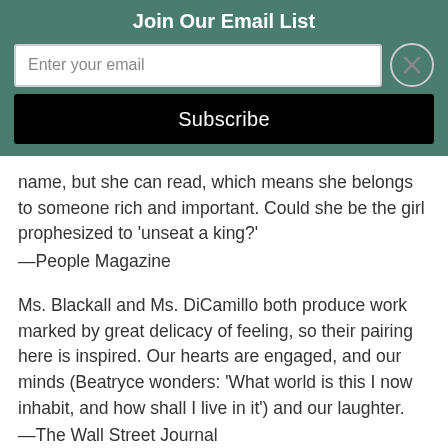Join Our Email List
Enter your email
Subscribe
name, but she can read, which means she belongs to someone rich and important. Could she be the girl prophesized to ‘unseat a king?’
—People Magazine
Ms. Blackall and Ms. DiCamillo both produce work marked by great delicacy of feeling, so their pairing here is inspired. Our hearts are engaged, and our minds (Beatryce wonders: ‘What world is this I now inhabit, and how shall I live in it’) and our laughter.
—The Wall Street Journal
A perfect read for kids who love tales of Medieval